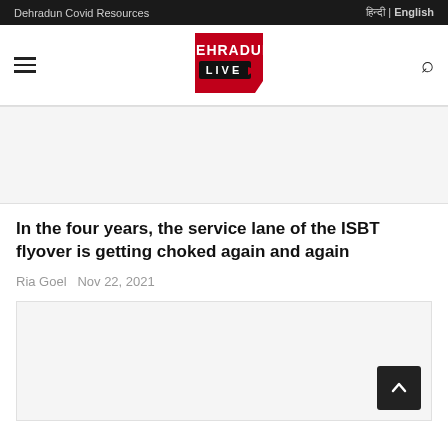Dehradun Covid Resources | हिन्दी | English
[Figure (logo): Dehradun Live logo — red pentagon shape with DEHRADUN in white on top and LIVE with arrow in black bar below]
[Figure (other): Advertisement banner placeholder (light gray box)]
In the four years, the service lane of the ISBT flyover is getting choked again and again
Ria Goel  Nov 22, 2021
[Figure (other): Advertisement banner placeholder (light gray box) with back-to-top button]